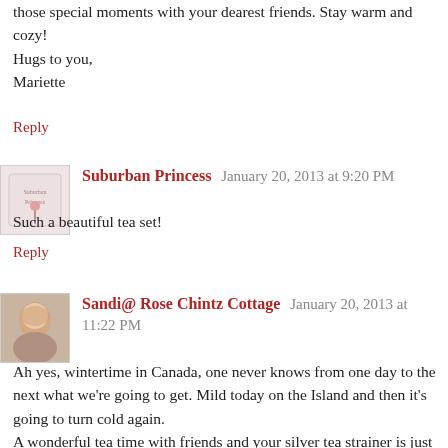those special moments with your dearest friends. Stay warm and cozy!
Hugs to you,
Mariette
Reply
[Figure (photo): Avatar image for Suburban Princess commenter]
Suburban Princess  January 20, 2013 at 9:20 PM
Such a beautiful tea set!
Reply
[Figure (photo): Avatar photo of Sandi from Rose Chintz Cottage]
Sandi@ Rose Chintz Cottage  January 20, 2013 at 11:22 PM
Ah yes, wintertime in Canada, one never knows from one day to the next what we're going to get. Mild today on the Island and then it's going to turn cold again.
A wonderful tea time with friends and your silver tea strainer is just beautiful! Hope you have many more lovely tea moments with friends, Celia. Thanks for sharing and have a wonderful week.